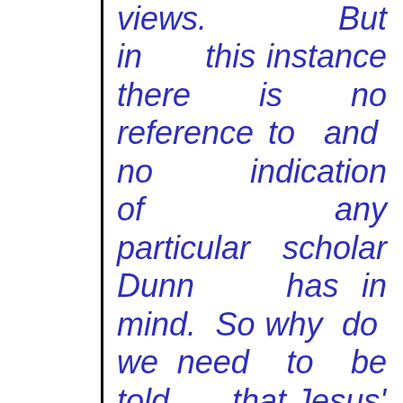views. But in this instance there is no reference to and no indication of any particular scholar Dunn has in mind. So why do we need to be told that Jesus'